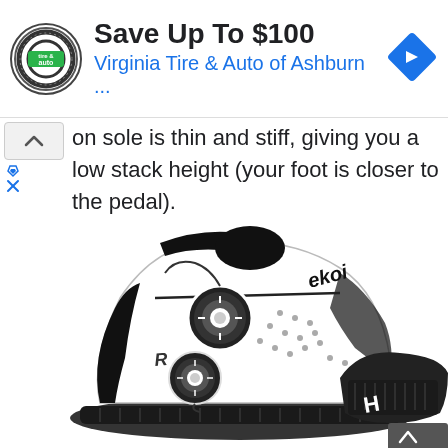[Figure (screenshot): Advertisement banner: logo for Virginia Tire & Auto, text 'Save Up To $100' and 'Virginia Tire & Auto of Ashburn ...' with a blue navigation/directions diamond icon on the right]
on sole is thin and stiff, giving you a low stack height (your foot is closer to the pedal).
[Figure (photo): Product photo of EKOI cycling shoes (white and black road cycling shoes with BOA dials) shown against a white background, with a second shoe showing the carbon sole visible on the right side]